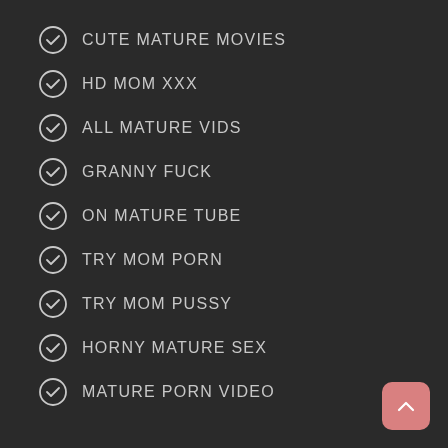CUTE MATURE MOVIES
HD MOM XXX
ALL MATURE VIDS
GRANNY FUCK
ON MATURE TUBE
TRY MOM PORN
TRY MOM PUSSY
HORNY MATURE SEX
MATURE PORN VIDEO